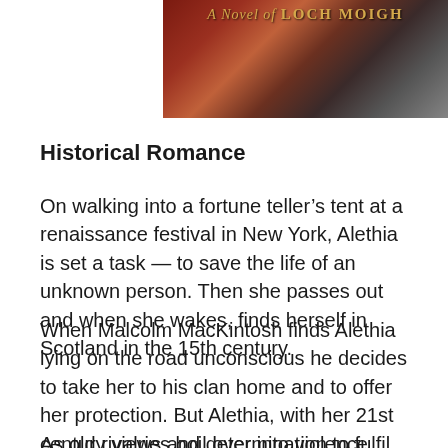[Figure (illustration): Top portion of a book cover for 'A Novel of Loch Moigh' showing text in gold italic font over a dark background with reddish and grey tones suggesting a figure and rocky scenery.]
Historical Romance
On walking into a fortune teller’s tent at a renaissance festival in New York, Alethia is set a task — to save the life of an unknown person. Then she passes out and when she wakes, finds herself in Scotland in the 15th century.
When Malcolm MacKintosh finds Alethia lying on the road unconscious he decides to take her to his clan home and to offer her protection. But Alethia, with her 21st century views and determination to fulfil her mission isn’t all that impressed with his efforts.
As old rivalries boil over into violence, Malcolm must learn to trust Alethia who holds the future of the MacKintosh